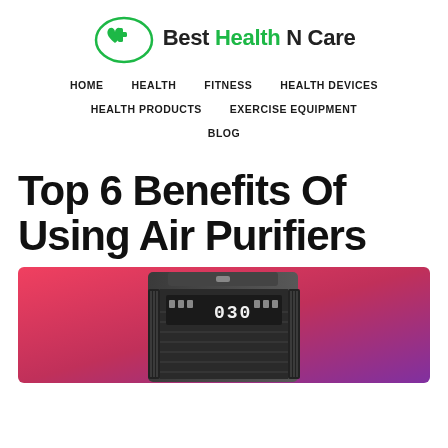[Figure (logo): Best Health N Care logo with green heart and cross icon, accompanied by bold text 'Best Health N Care' with 'Health' in green]
HOME   HEALTH   FITNESS   HEALTH DEVICES   HEALTH PRODUCTS   EXERCISE EQUIPMENT   BLOG
Top 6 Benefits Of Using Air Purifiers
[Figure (photo): Air purifier device with black casing and digital display showing '030', set against a pink-to-purple gradient background]